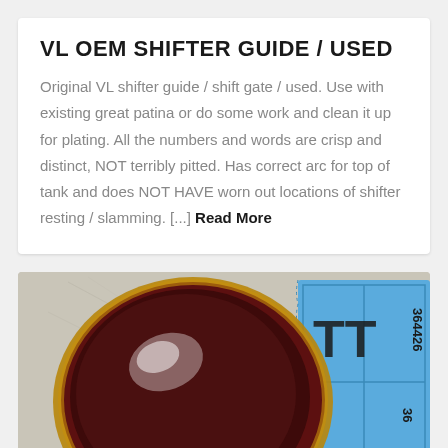VL OEM SHIFTER GUIDE / USED
Original VL shifter guide / shift gate / used.  Use with existing great patina or do some work and clean it up for plating.  All the numbers and words are crisp and distinct, NOT terribly pitted.  Has correct arc for top of tank and does NOT HAVE worn out locations of shifter resting / slamming.  [...] Read More
[Figure (photo): Close-up photo of a round reddish-brown glass or crystal shifter knob with a gold/amber rim, placed on a surface next to a blue raffle/lottery ticket stub showing numbers 364426 and partial 36.]